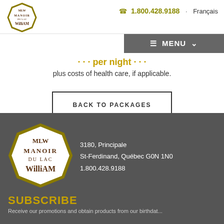[Figure (logo): Manoir du Lac William logo — octagonal gold border with text MANOIR DU LAC WILLIAM]
1.800.428.9188 · Français
plus costs of health care, if applicable.
BACK TO PACKAGES
[Figure (logo): Manoir du Lac William footer logo — octagonal gold border with text MANOIR DU LAC WILLIAM]
3180, Principale
St-Ferdinand, Québec G0N 1N0
1.800.428.9188
SUBSCRIBE